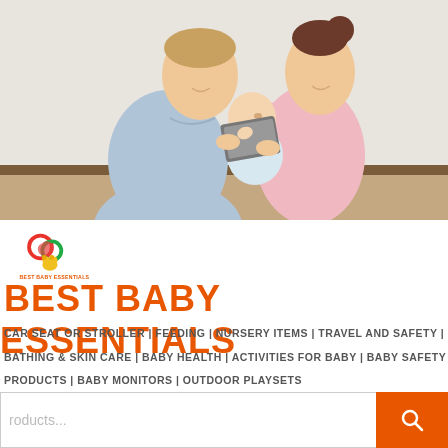[Figure (photo): A smiling couple sitting together looking at a book/device while holding a baby wearing a light blue outfit, against a light background.]
[Figure (logo): Best Baby Essentials logo: colorful heart/swirl icon above small text reading BEST BABY ESSENTIALS]
BEST BABY ESSENTIALS
CAR SEAT OR STROLLER | FEEDING | NURSERY ITEMS | TRAVEL AND SAFETY | BATHING & SKIN CARE | BABY HEALTH | ACTIVITIES FOR BABY | BABY SAFETY PRODUCTS | BABY MONITORS | OUTDOOR PLAYSETS
roducts...